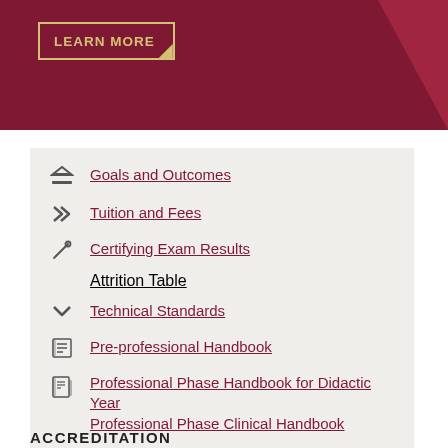[Figure (other): Dark red banner header with LEARN MORE button outlined in gold and a triangular corner accent]
Goals and Outcomes
Tuition and Fees
Certifying Exam Results
Attrition Table
Technical Standards
Pre-professional Handbook
Professional Phase Handbook for Didactic Year
Professional Phase Clinical Handbook
ACCREDITATION